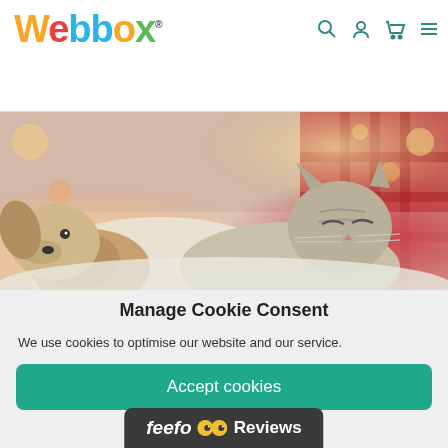Webbox® [logo with nav icons: search, account, cart, menu]
[Figure (photo): Hero image of a cat and dog cuddling together near Christmas decorations with bokeh lights in background]
Manage Cookie Consent
We use cookies to optimise our website and our service.
Accept cookies
Deny
View preferences
[Figure (logo): Feefo Reviews bar with feefo logo and yellow eyes icon and 'Reviews' text on dark background]